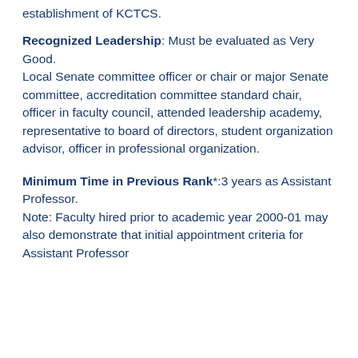establishment of KCTCS.
Recognized Leadership: Must be evaluated as Very Good.
Local Senate committee officer or chair or major Senate committee, accreditation committee standard chair, officer in faculty council, attended leadership academy, representative to board of directors, student organization advisor, officer in professional organization.
Minimum Time in Previous Rank*:3 years as Assistant Professor.
Note: Faculty hired prior to academic year 2000-01 may also demonstrate that initial appointment criteria for Assistant Professor